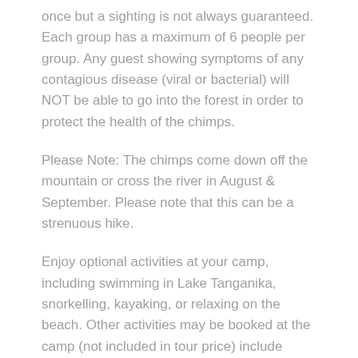once but a sighting is not always guaranteed. Each group has a maximum of 6 people per group. Any guest showing symptoms of any contagious disease (viral or bacterial) will NOT be able to go into the forest in order to protect the health of the chimps.
Please Note: The chimps come down off the mountain or cross the river in August & September. Please note that this can be a strenuous hike.
Enjoy optional activities at your camp, including swimming in Lake Tanganika, snorkelling, kayaking, or relaxing on the beach. Other activities may be booked at the camp (not included in tour price) include fishing or a boat safari along the shore. Park fees included.
Accommodation: Greystoke Mahale